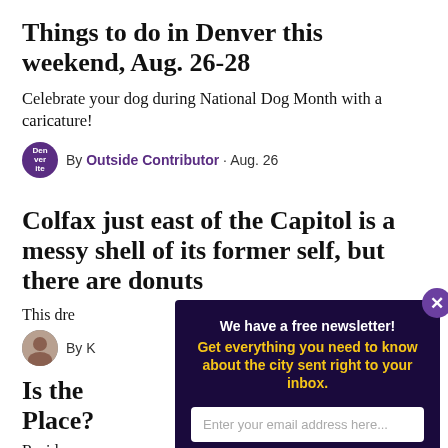Things to do in Denver this weekend, Aug. 26-28
Celebrate your dog during National Dog Month with a caricature!
By Outside Contributor · Aug. 26
Colfax just east of the Capitol is a messy shell of its former self, but there are donut…
This dre…
By K…
Is the … Place?
Residen… applicat…
[Figure (other): Newsletter signup modal overlay with dark purple background, heading 'We have a free newsletter!', subtext in gold 'Get everything you need to know about the city sent right to your inbox.', email input field, and yellow 'Sign me up!' button. Has a close X button in top right corner.]